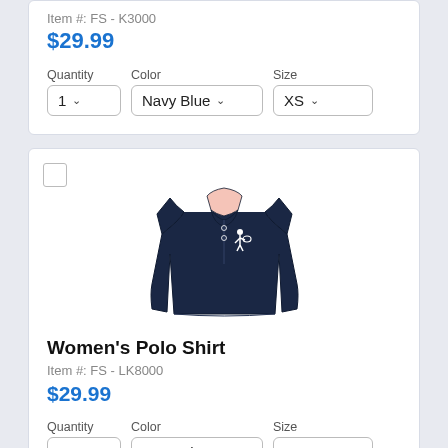Item #: FS - K3000
$29.99
Quantity  Color  Size
[Figure (photo): Women's navy blue polo shirt with white logo on chest, displayed on white background]
Women's Polo Shirt
Item #: FS - LK8000
$29.99
Quantity  Color  Size